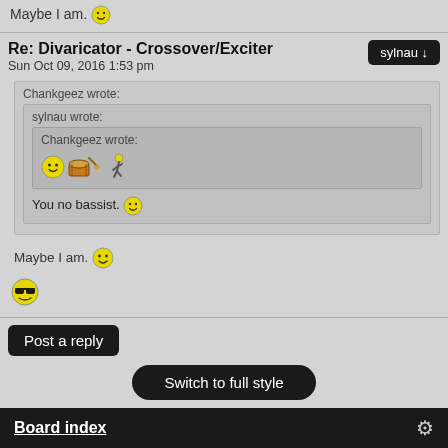Maybe I am. 🙂
Re: Divaricator - Crossover/Exciter
Sun Oct 09, 2016 1:53 pm
Chankgeez wrote:
  sylnau wrote:
    Chankgeez wrote:
    [emojis]
  You no bassist. 🙂
Maybe I am. 🙂
[cool emoji]
Post a reply
Switch to full style
Powered by phpBB © phpBB Group. phpBB Mobile / SEO by Artodia.
Board index